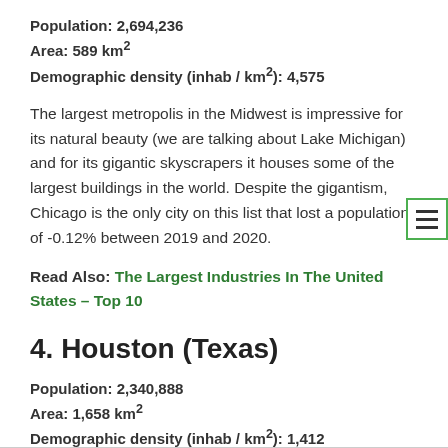Population: 2,694,236
Area: 589 km²
Demographic density (inhab / km²): 4,575
The largest metropolis in the Midwest is impressive for its natural beauty (we are talking about Lake Michigan) and for its gigantic skyscrapers it houses some of the largest buildings in the world. Despite the gigantism, Chicago is the only city on this list that lost a population of -0.12% between 2019 and 2020.
Read Also: The Largest Industries In The United States – Top 10
4. Houston (Texas)
Population: 2,340,888
Area: 1,658 km²
Demographic density (inhab / km²): 1,412